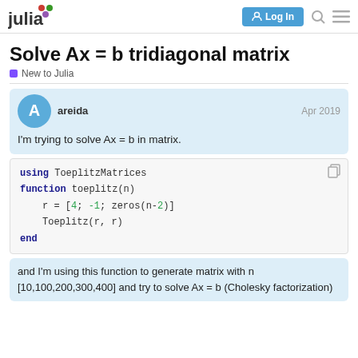julia | Log In
Solve Ax = b tridiagonal matrix
New to Julia
areida  Apr 2019
I'm trying to solve Ax = b in matrix.
and I'm using this function to generate matrix with n [10,100,200,300,400] and try to solve Ax = b (Cholesky factorization)